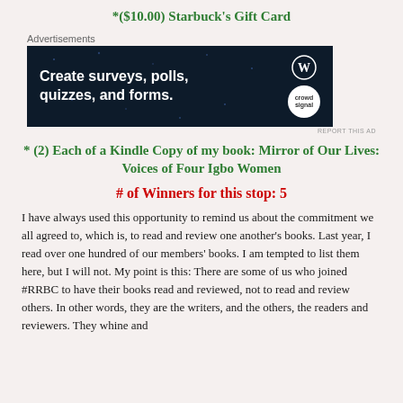*($10.00) Starbuck's Gift Card
[Figure (screenshot): Advertisement banner with dark navy background showing text 'Create surveys, polls, quizzes, and forms.' with WordPress and Crowdsignal logos]
* (2) Each of a Kindle Copy of my book: Mirror of Our Lives: Voices of Four Igbo Women
# of Winners for this stop: 5
I have always used this opportunity to remind us about the commitment we all agreed to, which is, to read and review one another's books. Last year, I read over one hundred of our members' books. I am tempted to list them here, but I will not. My point is this: There are some of us who joined #RRBC to have their books read and reviewed, not to read and review others. In other words, they are the writers, and the others, the readers and reviewers. They whine and